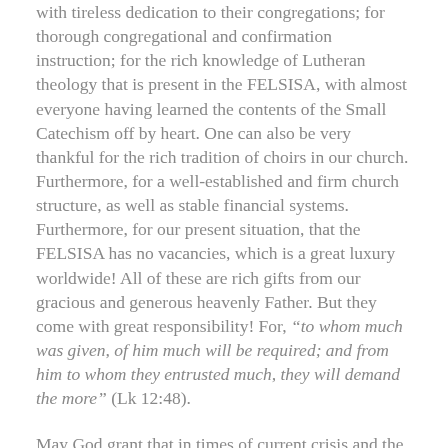with tireless dedication to their congregations; for thorough congregational and confirmation instruction; for the rich knowledge of Lutheran theology that is present in the FELSISA, with almost everyone having learned the contents of the Small Catechism off by heart. One can also be very thankful for the rich tradition of choirs in our church. Furthermore, for a well-established and firm church structure, as well as stable financial systems. Furthermore, for our present situation, that the FELSISA has no vacancies, which is a great luxury worldwide! All of these are rich gifts from our gracious and generous heavenly Father. But they come with great responsibility! For, “to whom much was given, of him much will be required; and from him to whom they entrusted much, they will demand the more” (Lk 12:48).
May God grant that in times of current crisis and the evident decline of membership in our Synod, we do not despair and act timidly and hesitantly, but that we may pursue with generosity and confidence to commit ourselves fully to the mission of Christ. As one person in class put it so well: “We carry out with firm confidence the task that